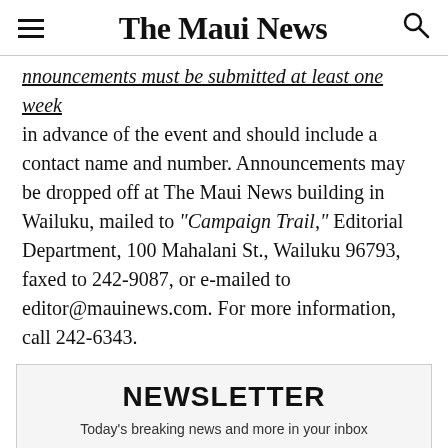The Maui News
Announcements must be submitted at least one week in advance of the event and should include a contact name and number. Announcements may be dropped off at The Maui News building in Wailuku, mailed to “Campaign Trail,” Editorial Department, 100 Mahalani St., Wailuku 96793, faxed to 242-9087, or e-mailed to editor@mauinews.com. For more information, call 242-6343.
NEWSLETTER
Today's breaking news and more in your inbox
EMAIL ADDRESS
I'm interested in (please check all that apply)
Daily Newsletter
Breaking News